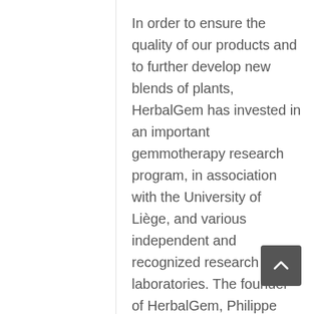In order to ensure the quality of our products and to further develop new blends of plants, HerbalGem has invested in an important gemmotherapy research program, in association with the University of Liège, and various independent and recognized research laboratories. The founder of HerbalGem, Philippe Andrianne, regularly holds